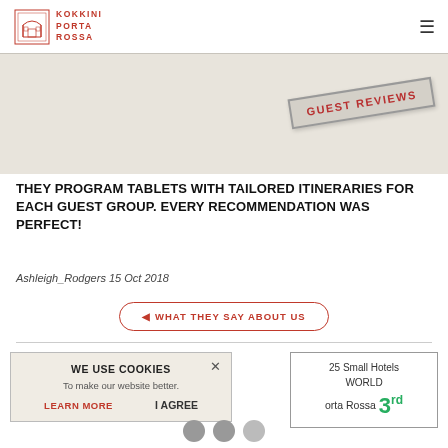KOKKINI PORTA ROSSA
[Figure (illustration): Kokkini Porta Rossa hotel logo with architectural arch illustration and red text]
[Figure (illustration): GUEST REVIEWS stamp/banner rotated diagonally on beige background]
THEY PROGRAM TABLETS WITH TAILORED ITINERARIES FOR EACH GUEST GROUP. EVERY RECOMMENDATION WAS PERFECT!
Ashleigh_Rodgers 15 Oct 2018
◄ WHAT THEY SAY ABOUT US
WE USE COOKIES
To make our website better.
LEARN MORE   I AGREE
25 Small Hotels
WORLD
orta Rossa 3rd